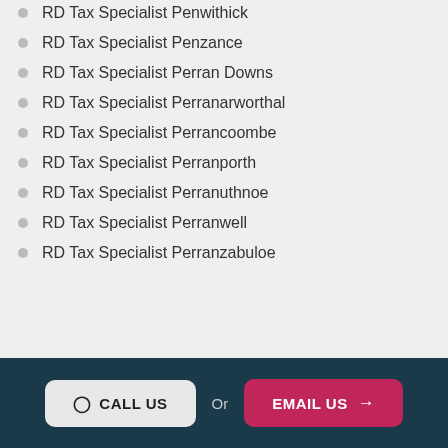RD Tax Specialist Penwithick
RD Tax Specialist Penzance
RD Tax Specialist Perran Downs
RD Tax Specialist Perranarworthal
RD Tax Specialist Perrancoombe
RD Tax Specialist Perranporth
RD Tax Specialist Perranuthnoe
RD Tax Specialist Perranwell
RD Tax Specialist Perranzabuloe
CALL US  Or  EMAIL US